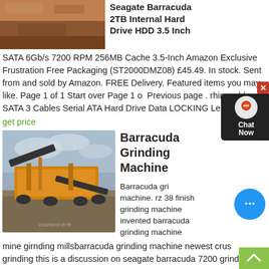[Figure (photo): Aerial/ground view of reddish-brown rocky terrain or mining site]
Seagate Barracuda 2TB Internal Hard Drive HDD 3.5 Inch SATA 6Gb/s 7200 RPM 256MB Cache 3.5-Inch Amazon Exclusive Frustration Free Packaging (ST2000DMZ08) £45.49. In stock. Sent from and sold by Amazon. FREE Delivery. Featured items you may like. Page 1 of 1 Start over Page 1 of Previous page . rhinocables SATA 3 Cables Serial ATA Hard Drive Data LOCKING Lead Straight
get price
[Figure (photo): Industrial yellow grinding/crushing machine at a mine or quarry site]
Barracuda Grinding Machine
Barracuda grinding machine. rz 38 finish grinding machine invented barracuda grinding machine mine girnding millsbarracuda grinding machine newest crusher grinding this is a discussion on seagate barracuda 7200 grinding